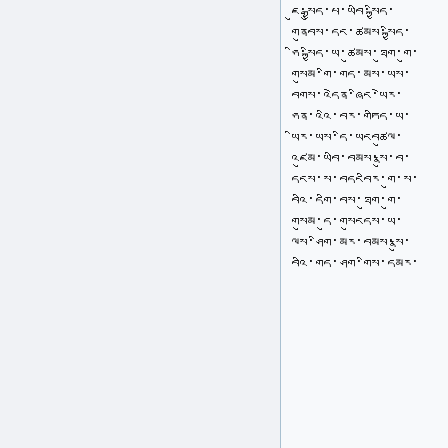ཇུ་སྒྱུད་པ་ཡབི་སྐྱིད་
གནུབས་དང་ཚམས་སྐྱིད་
ཧི་སྐྱིད་ཡ་ཚུམས་ཐུག་གུ་
གསུམ་གིི་གད་མས་ཡས་
བགས་འདེན་ཞིང་ཡེར་
ཧན་འའི་བར་གཏིད་ཡ་
ཡིར་ཡས་དི་ཡངབཚུལ་
འཛུམ་ཡབི་བམས་སྣུ་བ་
དངས་ས་བདངབིར་གུ་ས་
བའི་དགི་བས་ཐུག་གུ་
གསུམ་དུ་གསུངདས་ཡ་
ལས་ཤིག་མར་བམས་སྣུ་
བའི་གད་ཤག་གིས་དམར་